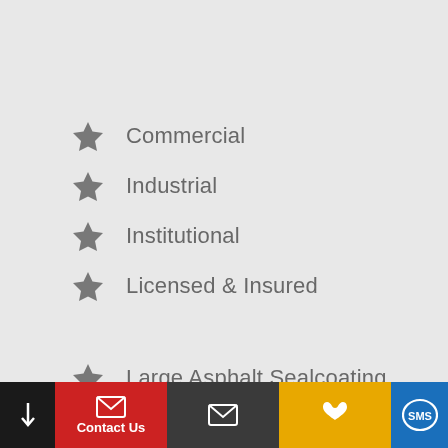Commercial
Industrial
Institutional
Licensed & Insured
Large Asphalt Sealcoating
Pipe Bollard Repair and Installation
Speed Bumps & Humps
Contact Us